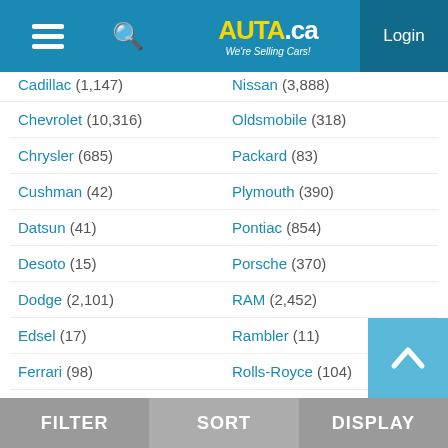AUTA.ca — We're Selling Cars! | Login
Cadillac (1,147)
Nissan (3,888)
Chevrolet (10,316)
Oldsmobile (318)
Chrysler (685)
Packard (83)
Cushman (42)
Plymouth (390)
Datsun (41)
Pontiac (854)
Desoto (15)
Porsche (370)
Dodge (2,101)
RAM (2,452)
Edsel (17)
Rambler (11)
Ferrari (98)
Rolls-Royce (104)
Ford (9,528)
Saturn (33)
GMC (2,400)
Scion (29)
Harley Davidson (83)
Shelby (92)
Honda (2,867)
Smart (21)
Hudson (34)
Studebaker (79)
Hummer (69)
Subaru (1,091)
FILTER | SORT | DISPLAY